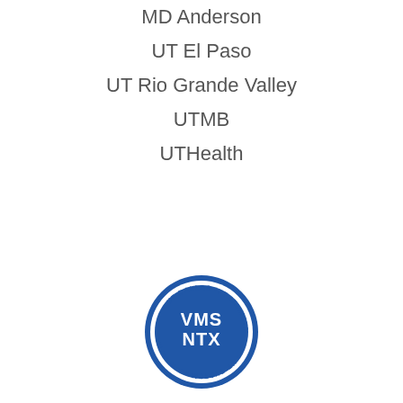MD Anderson
UT El Paso
UT Rio Grande Valley
UTMB
UTHealth
[Figure (logo): VMS NTX circular seal with text: UT Dallas, UT Arlington, UT Southwestern, UT System around the border, and VMS NTX in the center, blue circle with white text]